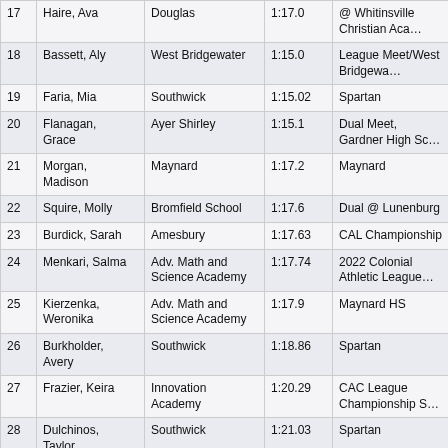| # | Name | School | Time | Meet |
| --- | --- | --- | --- | --- |
| 17 | Haire, Ava | Douglas | 1:17.0 | @ Whitinsville Christian Aca… |
| 18 | Bassett, Aly | West Bridgewater | 1:15.0 | League Meet/West Bridgewa… |
| 19 | Faria, Mia | Southwick | 1:15.02 | Spartan |
| 20 | Flanagan, Grace | Ayer Shirley | 1:15.1 | Dual Meet, Gardner High Sc… |
| 21 | Morgan, Madison | Maynard | 1:17.2 | Maynard |
| 22 | Squire, Molly | Bromfield School | 1:17.6 | Dual @ Lunenburg |
| 23 | Burdick, Sarah | Amesbury | 1:17.63 | CAL Championship |
| 24 | Menkari, Salma | Adv. Math and Science Academy | 1:17.74 | 2022 Colonial Athletic League… |
| 25 | Kierzenka, Weronika | Adv. Math and Science Academy | 1:17.9 | Maynard HS |
| 26 | Burkholder, Avery | Southwick | 1:18.86 | Spartan |
| 27 | Frazier, Keira | Innovation Academy | 1:20.29 | CAC League Championship S… |
| 28 | Dulchinos, Taylor | Southwick | 1:21.03 | Spartan |
| 29 | Moulder, Meghan | Douglas | 1:22.26 | Dual Valley Conference Cha… |
| 30 | McSweeney, Niamh | Uxbridge | 1:23.55 | SWCL Girl's League Meet |
| 31 | Pettersen, Alexis | Wareham | 1:25.0 | Dual meet/Swansea |
| 32 | Cunha, Madisyn | Clinton | 1:26.7 | Littleton High School |
| 33 | Campbell, | Sabis Intl Charter | 1:26.98 | All-city |